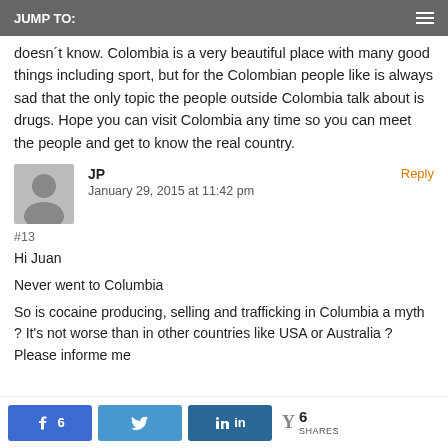JUMP TO:
doesn´t know. Colombia is a very beautiful place with many good things including sport, but for the Colombian people like is always sad that the only topic the people outside Colombia talk about is drugs. Hope you can visit Colombia any time so you can meet the people and get to know the real country.
JP
January 29, 2015 at 11:42 pm
#13
Hi Juan
Never went to Columbia
So is cocaine producing, selling and trafficking in Columbia a myth ? It's not worse than in other countries like USA or Australia ? Please informe me
6  (shares)